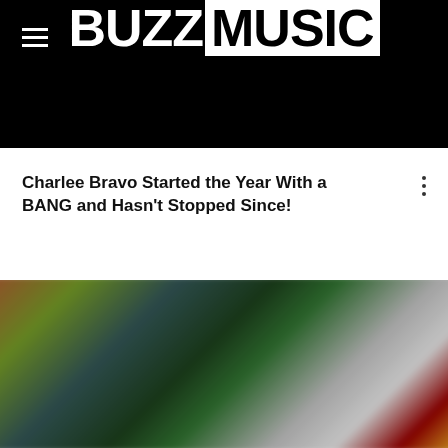BUZZMUSIC
Charlee Bravo Started the Year With a BANG and Hasn't Stopped Since!
[Figure (photo): Blurred photograph showing a person in a colorful, busy environment with dark green background elements and various colorful objects.]